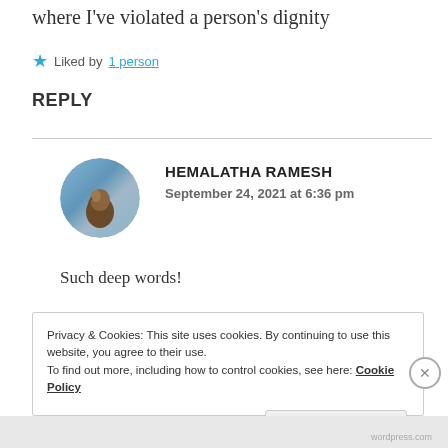where I've violated a person's dignity
Liked by 1 person
REPLY
HEMALATHA RAMESH
September 24, 2021 at 6:36 pm
Such deep words!
Privacy & Cookies: This site uses cookies. By continuing to use this website, you agree to their use.
To find out more, including how to control cookies, see here: Cookie Policy
Close and accept